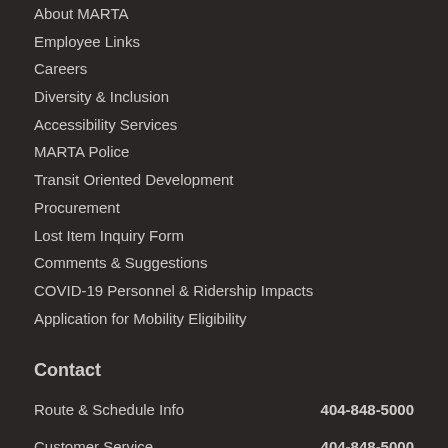About MARTA
Employee Links
Careers
Diversity & Inclusion
Accessibility Services
MARTA Police
Transit Oriented Development
Procurement
Lost Item Inquiry Form
Comments & Suggestions
COVID-19 Personnel & Ridership Impacts
Application for Mobility Eligibility
Contact
Route & Schedule Info	404-848-5000
Customer Service	404-848-5000
MARTA Police	404-848-4900